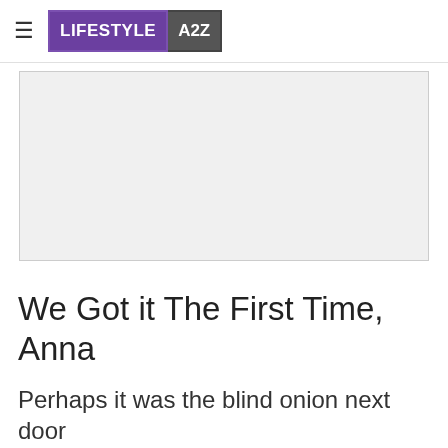LIFESTYLE A2Z
[Figure (other): Advertisement placeholder block, light gray rectangle]
We Got it The First Time, Anna
Perhaps it was the blind onion next door